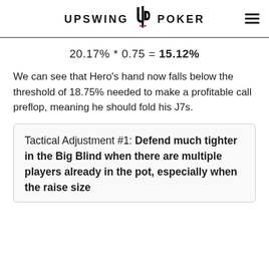UPSWING POKER
We can see that Hero's hand now falls below the threshold of 18.75% needed to make a profitable call preflop, meaning he should fold his J7s.
Tactical Adjustment #1: Defend much tighter in the Big Blind when there are multiple players already in the pot, especially when the raise size